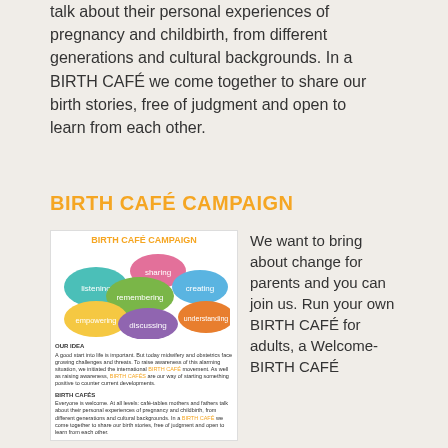talk about their personal experiences of pregnancy and childbirth, from different generations and cultural backgrounds. In a BIRTH CAFÉ we come together to share our birth stories, free of judgment and open to learn from each other.
BIRTH CAFÉ CAMPAIGN
[Figure (infographic): Birth Café Campaign flyer showing colorful speech bubbles with words: listening, sharing, remembering, creating, empowering, discussing, understanding. Below are sections 'OUR IDEA' and 'BIRTH CAFÉS' with small descriptive text.]
We want to bring about change for parents and you can join us. Run your own BIRTH CAFÉ for adults, a Welcome-BIRTH CAFÉ